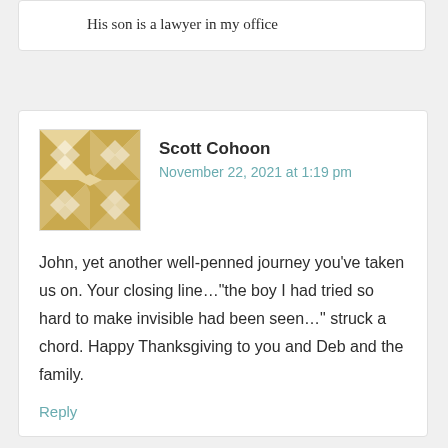His son is a lawyer in my office
[Figure (illustration): Decorative avatar/gravatar image with gold geometric quilt pattern on white background]
Scott Cohoon
November 22, 2021 at 1:19 pm
John, yet another well-penned journey you’ve taken us on. Your closing line…“the boy I had tried so hard to make invisible had been seen…” struck a chord. Happy Thanksgiving to you and Deb and the family.
Reply